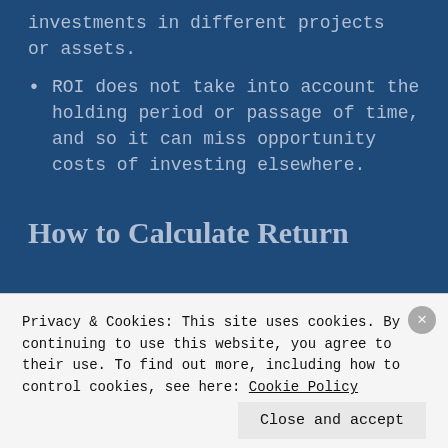investments in different projects or assets.
ROI does not take into account the holding period or passage of time, and so it can miss opportunity costs of investing elsewhere.
How to Calculate Return
Privacy & Cookies: This site uses cookies. By continuing to use this website, you agree to their use. To find out more, including how to control cookies, see here: Cookie Policy
Close and accept